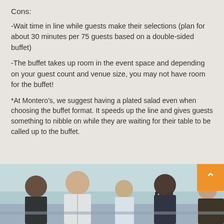Cons:
-Wait time in line while guests make their selections (plan for about 30 minutes per 75 guests based on a double-sided buffet)
-The buffet takes up room in the event space and depending on your guest count and venue size, you may not have room for the buffet!
*At Montero’s, we suggest having a plated salad even when choosing the buffet format. It speeds up the line and gives guests something to nibble on while they are waiting for their table to be called up to the buffet.
[Figure (photo): Photo of people at a buffet or catered event, dressed in formal/uniform attire, looking down at food or plates. An orange scroll-up button overlays the top-right corner of the image.]